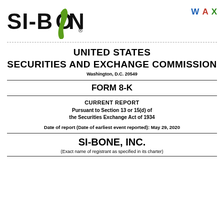[Figure (logo): SI-BONE logo with registered trademark symbol and green swoosh]
[Figure (other): W A X icons in blue, red, and green]
UNITED STATES SECURITIES AND EXCHANGE COMMISSION
Washington, D.C. 20549
FORM 8-K
CURRENT REPORT
Pursuant to Section 13 or 15(d) of the Securities Exchange Act of 1934
Date of report (Date of earliest event reported): May 29, 2020
SI-BONE, INC.
(Exact name of registrant as specified in its charter)